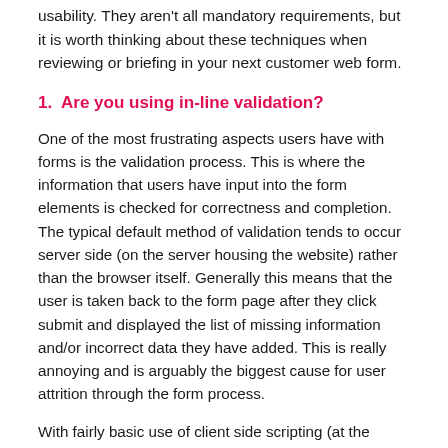usability. They aren't all mandatory requirements, but it is worth thinking about these techniques when reviewing or briefing in your next customer web form.
1.  Are you using in-line validation?
One of the most frustrating aspects users have with forms is the validation process. This is where the information that users have input into the form elements is checked for correctness and completion. The typical default method of validation tends to occur server side (on the server housing the website) rather than the browser itself. Generally this means that the user is taken back to the form page after they click submit and displayed the list of missing information and/or incorrect data they have added. This is really annoying and is arguably the biggest cause for user attrition through the form process.
With fairly basic use of client side scripting (at the users' browser) most, if not all, validation can take place as the user inputs their data. This is called “inline validation”. When a user,